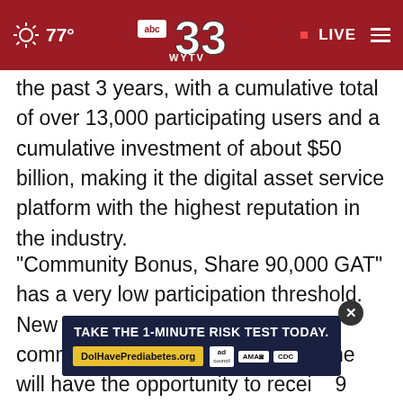abc33 WYTV — 77° — LIVE
the past 3 years, with a cumulative total of over 13,000 participating users and a cumulative investment of about $50 billion, making it the digital asset service platform with the highest reputation in the industry.
"Community Bonus, Share 90,000 GAT" has a very low participation threshold. New users who enter the AEX community Telegram for the first time will have the opportunity to receive 9 GAT rewards, the global ecosystem establishment. Various
[Figure (screenshot): Ad overlay banner: TAKE THE 1-MINUTE RISK TEST TODAY. DolHavePrediabetes.org — ad council, AMA, CDC logos. Close button (X) circle visible overlapping text.]